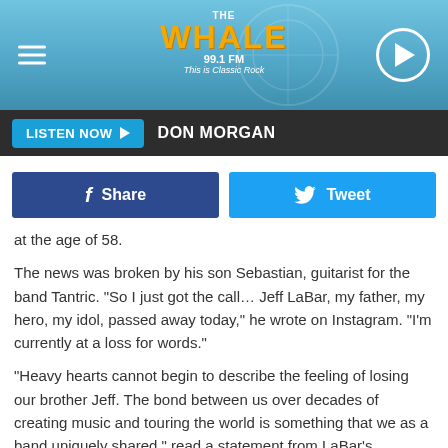[Figure (screenshot): The Whale 99.1 FM Classic Rock radio station header banner with hamburger menu, logo, and play button]
LISTEN NOW ▶  DON MORGAN
[Figure (infographic): Facebook Share button and Twitter Tweet button row]
at the age of 58.
The news was broken by his son Sebastian, guitarist for the band Tantric. "So I just got the call… Jeff LaBar, my father, my hero, my idol, passed away today," he wrote on Instagram. "I'm currently at a loss for words."
"Heavy hearts cannot begin to describe the feeling of losing our brother Jeff. The bond between us over decades of creating music and touring the world is something that we as a band uniquely shared," read a statement from LaBar's